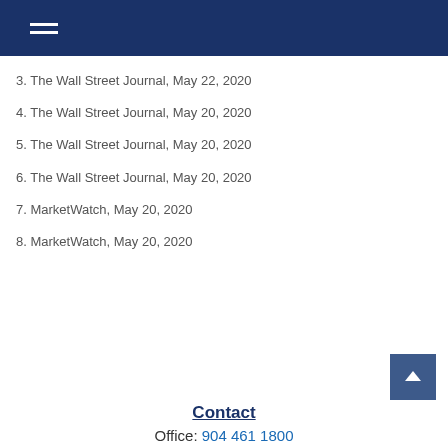Navigation menu header bar
3. The Wall Street Journal, May 22, 2020
4. The Wall Street Journal, May 20, 2020
5. The Wall Street Journal, May 20, 2020
6. The Wall Street Journal, May 20, 2020
7. MarketWatch, May 20, 2020
8. MarketWatch, May 20, 2020
Contact
Office: 904 461 1800